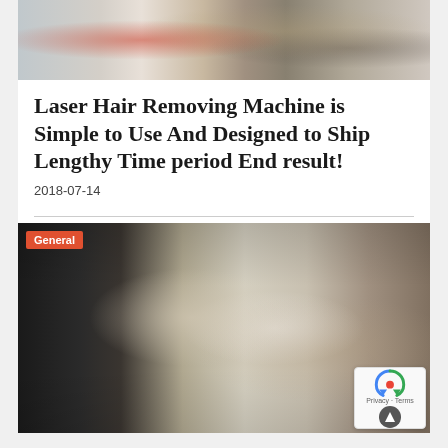[Figure (photo): Top photo showing people in a store or showroom, one person in a red jacket]
Laser Hair Removing Machine is Simple to Use And Designed to Ship Lengthy Time period End result!
2018-07-14
[Figure (photo): Fashion photo of two people standing outside, one woman in light blue top and patterned wide-leg pants, one man in white blazer and black leather pants, with a 'General' badge overlay]